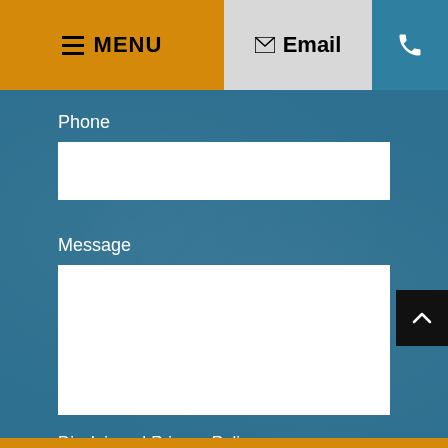MENU | Email | Phone
Phone
[Figure (other): Empty phone input field (white rectangle)]
Message
[Figure (other): Empty message textarea (white rectangle)]
Disclaimer | Privacy Policy
I Have Read The Disclaimer *